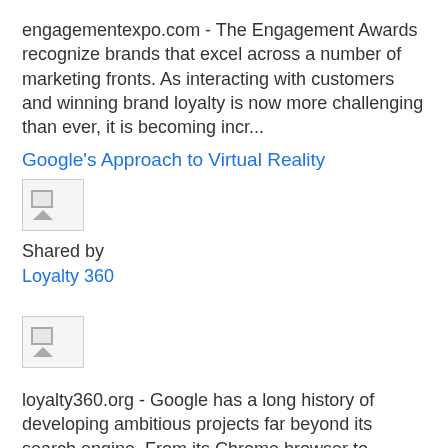engagementexpo.com - The Engagement Awards recognize brands that excel across a number of marketing fronts. As interacting with customers and winning brand loyalty is now more challenging than ever, it is becoming incr...
Google's Approach to Virtual Reality
[Figure (photo): Broken/missing image thumbnail placeholder]
Shared by
Loyalty 360
[Figure (photo): Broken/missing image thumbnail placeholder]
loyalty360.org - Google has a long history of developing ambitious projects far beyond its search engine. From its Chrome browser to Android operating system, the company has continued to provide valuable software ...